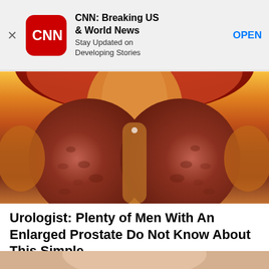[Figure (screenshot): App store advertisement banner for CNN: Breaking US & World News app with close button, CNN logo, app description text, and OPEN button]
[Figure (illustration): Medical illustration of an enlarged prostate gland shown in anatomical cross-section view, with reddish-brown prostate lobes and surrounding tissue in orange/yellow tones]
Urologist: Plenty of Men With An Enlarged Prostate Do Not Know About This Simple...
Sponsored: GorillaSecret.com
[Figure (photo): Partial photo at bottom of page, light skin tones visible]